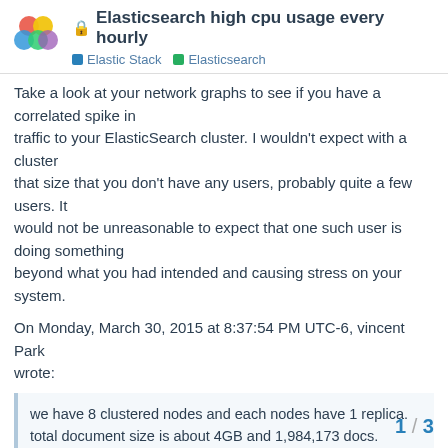Elasticsearch high cpu usage every hourly | Elastic Stack | Elasticsearch
Take a look at your network graphs to see if you have a correlated spike in traffic to your ElasticSearch cluster. I wouldn't expect with a cluster that size that you don't have any users, probably quite a few users. It would not be unreasonable to expect that one such user is doing something beyond what you had intended and causing stress on your system.
On Monday, March 30, 2015 at 8:37:54 PM UTC-6, vincent Park wrote:
we have 8 clustered nodes and each nodes have 1 replica. total document size is about 4GB and 1,984,173 docs.
I was suffering from very high CPU usage every hourly.
1 / 3